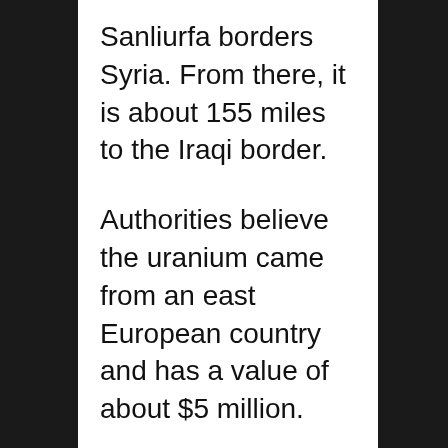Sanliurfa borders Syria. From there, it is about 155 miles to the Iraqi border.
Authorities believe the uranium came from an east European country and has a value of about $5 million.
Police in Istanbul seized